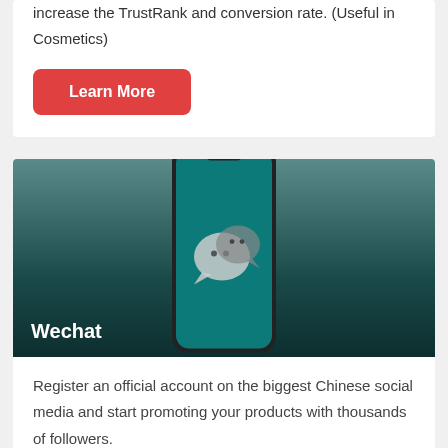increase the TrustRank and conversion rate. (Useful in Cosmetics)
Learn More
[Figure (illustration): A smartphone displaying the WeChat logo (two overlapping chat bubbles) on a teal background, shown against a dark teal-to-dark gradient background. The word 'Wechat' appears in white bold text at the bottom left.]
Register an official account on the biggest Chinese social media and start promoting your products with thousands of followers.